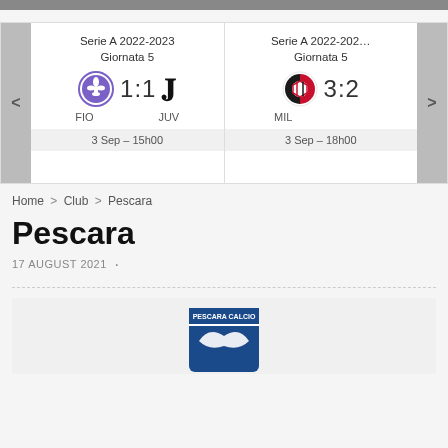[Figure (screenshot): Match results slider showing two Serie A 2022-2023 Giornata 5 matches: FIO vs JUV 1:1 on 3 Sep 15h00, and MIL 3:2 on 3 Sep 18h00]
Home > Club > Pescara
Pescara
17 AUGUST 2021
[Figure (logo): Pescara Calcio badge/logo]